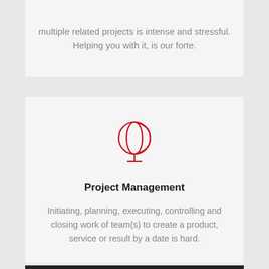multiple related projects is intense and stressful. Helping you with it, is our forte.
[Figure (illustration): Red outline globe/world icon on a stand]
Project Management
Initiating, planning, executing, controlling and closing work of team(s) to create a product, service or result by a date is hard.